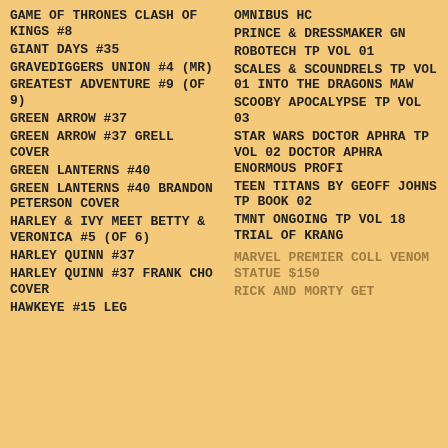GAME OF THRONES CLASH OF KINGS #8
GIANT DAYS #35
GRAVEDIGGERS UNION #4 (MR)
GREATEST ADVENTURE #9 (OF 9)
GREEN ARROW #37
GREEN ARROW #37 GRELL COVER
GREEN LANTERNS #40
GREEN LANTERNS #40 BRANDON PETERSON COVER
HARLEY & IVY MEET BETTY & VERONICA #5 (OF 6)
HARLEY QUINN #37
HARLEY QUINN #37 FRANK CHO COVER
HAWKEYE #15 LEG
OMNIBUS HC
PRINCE & DRESSMAKER GN
ROBOTECH TP VOL 01
SCALES & SCOUNDRELS TP VOL 01 INTO THE DRAGONS MAW
SCOOBY APOCALYPSE TP VOL 03
STAR WARS DOCTOR APHRA TP VOL 02 DOCTOR APHRA ENORMOUS PROFI
TEEN TITANS BY GEOFF JOHNS TP BOOK 02
TMNT ONGOING TP VOL 18 TRIAL OF KRANG
MARVEL PREMIER COLL VENOM STATUE $150
RICK AND MORTY GET